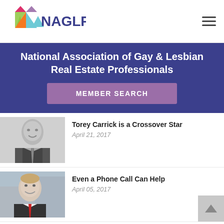NAGLREP
National Association of Gay & Lesbian Real Estate Professionals
MEMBER SEARCH
Torey Carrick is a Crossover Star
April 21, 2017
Even a Phone Call Can Help
April 05, 2017
One of the Most Interesting in Real Estate
March 02, 2017